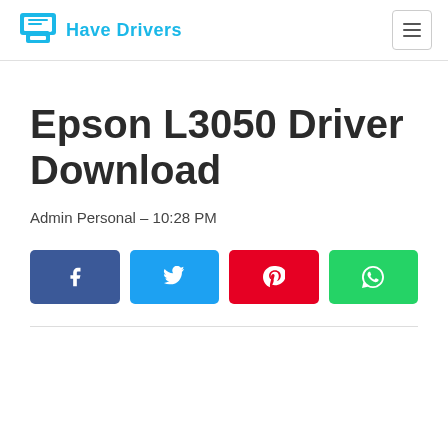Have Drivers
Epson L3050 Driver Download
Admin Personal – 10:28 PM
[Figure (infographic): Social share buttons: Facebook (blue), Twitter (cyan), Pinterest (red), WhatsApp (green)]